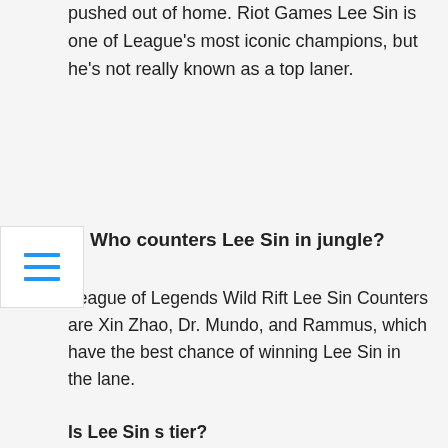pushed out of home. Riot Games Lee Sin is one of League's most iconic champions, but he's not really known as a top laner.
Who counters Lee Sin in jungle?
League of Legends Wild Rift Lee Sin Counters are Xin Zhao, Dr. Mundo, and Rammus, which have the best chance of winning Lee Sin in the lane.
Is Lee Sin s tier?
[Figure (infographic): Homework help at Pro-Papers advertisement banner with NOW WITH 15% OFF badge and ORDER button]
Lee Sin Build 11.23 ranks as an B-Tier pick for the Jungle role in Season 11. This champion currently has a Win Rate of 47.57% (Bad), Pick Rate of 9.25% (High), and a Ban Rate of 1.4% (Medium).